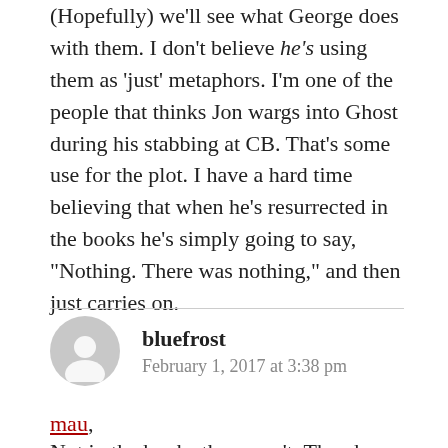(Hopefully) we'll see what George does with them. I don't believe he's using them as 'just' metaphors. I'm one of the people that thinks Jon wargs into Ghost during his stabbing at CB. That's some use for the plot. I have a hard time believing that when he's resurrected in the books he's simply going to say, "Nothing. There was nothing," and then just carries on.
bluefrost
February 1, 2017 at 3:38 pm
mau,
Not in the books they aren't. They have a lot of significance and they've done a lot as opposed to the